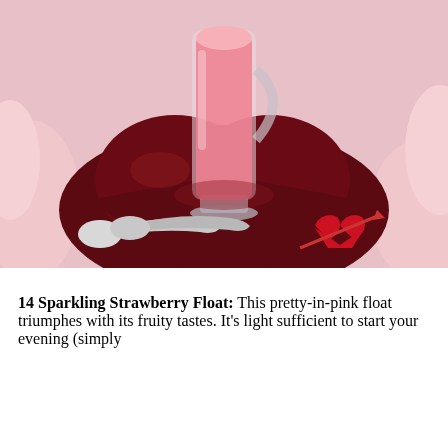[Figure (photo): A pink strawberry float in a clear glass mug sitting on a dark red heart-shaped plate with two silver spoons and a red felt heart with arrow decoration, held by hands with pink-painted nails.]
14 Sparkling Strawberry Float: This pretty-in-pink float triumphes with its fruity tastes. It's light sufficient to start your evening (simply